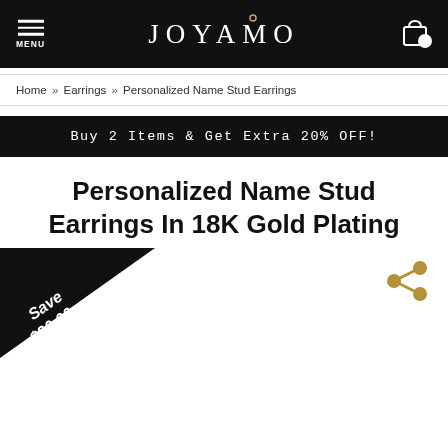JOYAMO — MENU / Bag icon header
Home » Earrings » Personalized Name Stud Earrings
Buy 2 Items & Get Extra 20% OFF!
Personalized Name Stud Earrings In 18K Gold Plating
[Figure (other): Black triangular corner badge with white italic text 'Save $20.00']
[Figure (other): Gold share icon (connected circles)]